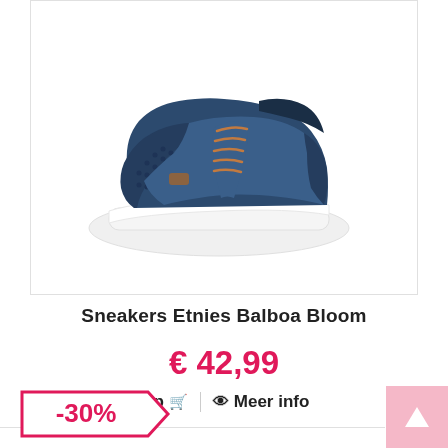[Figure (photo): Navy blue Etnies Balboa Bloom sneaker with orange laces and white sole, displayed on white background]
Sneakers Etnies Balboa Bloom
€ 42,99
Naar shop 🛒 | 👁 Meer info
-30%